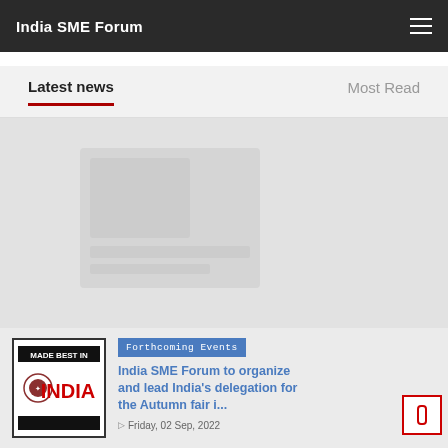India SME Forum
Latest news
Most Read
[Figure (illustration): Blank/loading placeholder image area]
[Figure (logo): Made Best In India logo with emblem and red INDIA text]
Forthcoming Events
India SME Forum to organize and lead India's delegation for the Autumn fair i...
Friday, 02 Sep, 2022